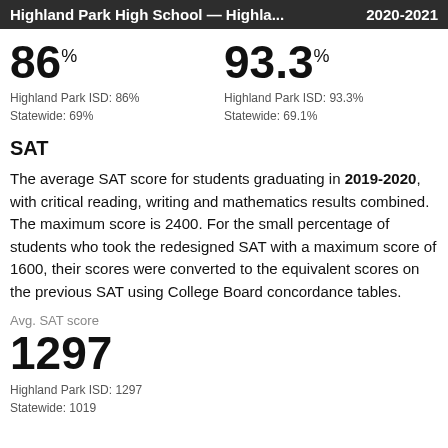Highland Park High School — Highla... 2020-2021
86%
Highland Park ISD: 86%
Statewide: 69%
93.3%
Highland Park ISD: 93.3%
Statewide: 69.1%
SAT
The average SAT score for students graduating in 2019-2020, with critical reading, writing and mathematics results combined. The maximum score is 2400. For the small percentage of students who took the redesigned SAT with a maximum score of 1600, their scores were converted to the equivalent scores on the previous SAT using College Board concordance tables.
Avg. SAT score
1297
Highland Park ISD: 1297
Statewide: 1019